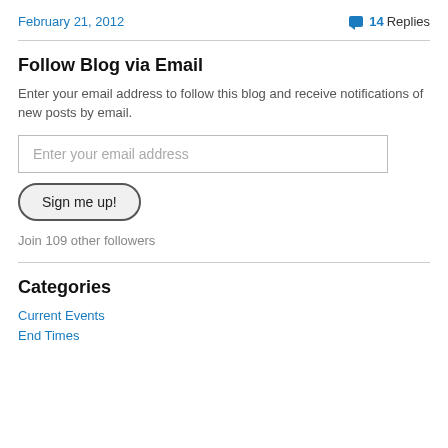February 21, 2012
14 Replies
Follow Blog via Email
Enter your email address to follow this blog and receive notifications of new posts by email.
Enter your email address
Sign me up!
Join 109 other followers
Categories
Current Events
End Times